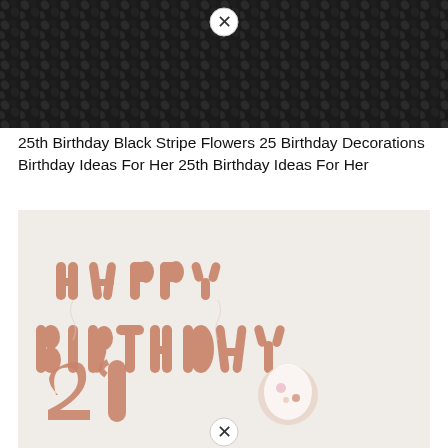[Figure (photo): Dark black textured background with a close button (X circle) overlay at the top center]
25th Birthday Black Stripe Flowers 25 Birthday Decorations Birthday Ideas For Her 25th Birthday Ideas For Her
[Figure (photo): Rose gold balloon letters spelling HAPPY BIRTHDAY hanging on a white wall, with large '21' number balloons and a person holding a confetti balloon below. A close button (X circle) overlay at the bottom center.]